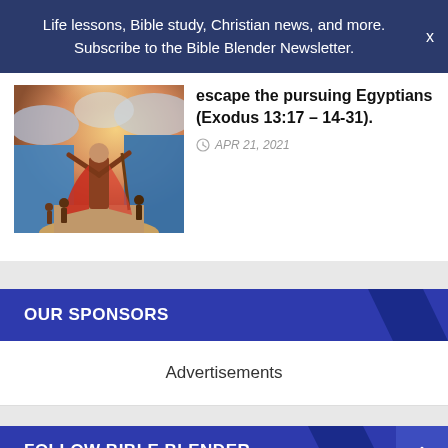Life lessons, Bible study, Christian news, and more. Subscribe to the Bible Blender Newsletter.
escape the pursuing Egyptians (Exodus 13:17 – 14-31).
APR 21, 2021
[Figure (illustration): Biblical illustration showing Moses parting the Red Sea with dramatic lighting and people crossing]
OUR SPONSORS
Advertisements
FOLLOW BIBLE BLENDER